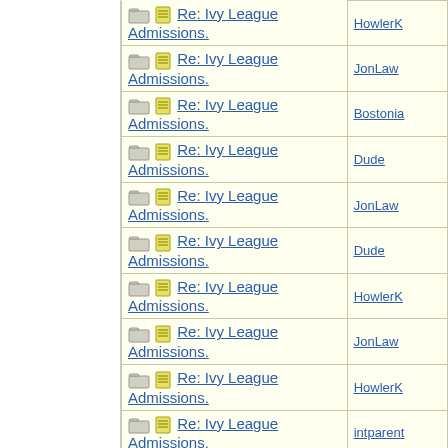| Subject | Author |
| --- | --- |
| Re: Ivy League Admissions. | HowlerK |
| Re: Ivy League Admissions. | JonLaw |
| Re: Ivy League Admissions. | Bostonia |
| Re: Ivy League Admissions. | Dude |
| Re: Ivy League Admissions. | JonLaw |
| Re: Ivy League Admissions. | Dude |
| Re: Ivy League Admissions. | HowlerK |
| Re: Ivy League Admissions. | JonLaw |
| Re: Ivy League Admissions. | HowlerK |
| Re: Ivy League Admissions. | intparent |